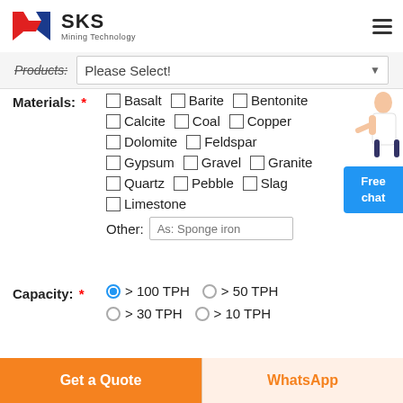[Figure (logo): SKS Mining Technology logo with red and blue geometric S shape and company name]
Products: Please Select!
Materials: * Basalt  Barite  Bentonite  Calcite  Coal  Copper  Dolomite  Feldspar  Gypsum  Gravel  Granite  Quartz  Pebble  Slag  Limestone  Other: As: Sponge iron
Capacity: * > 100 TPH  > 50 TPH  > 30 TPH  > 10 TPH
Get a Quote
WhatsApp